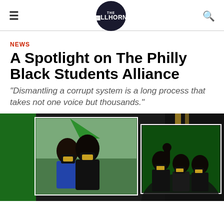THE BULLHORN
NEWS
A Spotlight on The Philly Black Students Alliance
“Dismantling a corrupt system is a long process that takes not one voice but thousands.”
[Figure (photo): Two people wearing black masks with text at an outdoor event with a green tent; a second overlapping photo shows three people wearing black masks with one person raising a fist.]